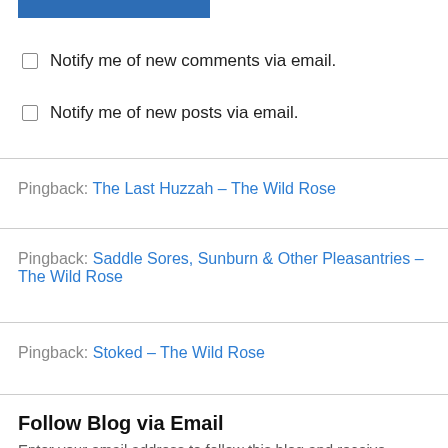[Figure (other): Blue button/bar at top]
Notify me of new comments via email.
Notify me of new posts via email.
Pingback: The Last Huzzah – The Wild Rose
Pingback: Saddle Sores, Sunburn & Other Pleasantries – The Wild Rose
Pingback: Stoked – The Wild Rose
Follow Blog via Email
Enter your email address to follow this blog and receive notifications of